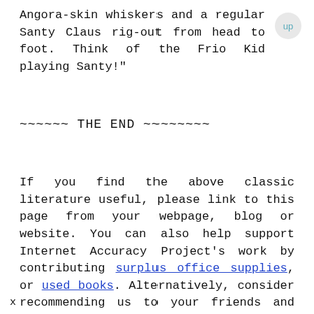Angora-skin whiskers and a regular Santy Claus rig-out from head to foot. Think of the Frio Kid playing Santy!"
~~~~~~ THE END ~~~~~~~~
If you find the above classic literature useful, please link to this page from your webpage, blog or website. You can also help support Internet Accuracy Project's work by contributing surplus office supplies, or used books. Alternatively, consider recommending us to your friends and colleagues. Thank you in advance!
x